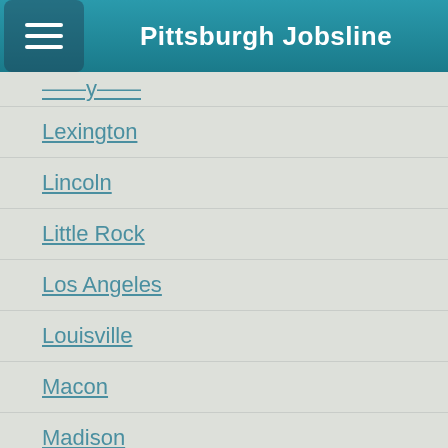Pittsburgh Jobsline
(partial city name cut off at top)
Lexington
Lincoln
Little Rock
Los Angeles
Louisville
Macon
Madison
Memphis
Miami
Milwaukee
Minneapolis
(partial city name cut off at bottom)